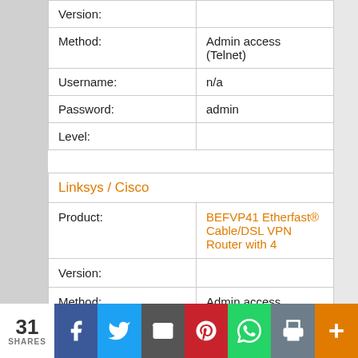| Field | Value |
| --- | --- |
| Version: |  |
| Method: | Admin access (Telnet) |
| Username: | n/a |
| Password: | admin |
| Level: |  |
Linksys / Cisco
| Field | Value |
| --- | --- |
| Product: | BEFVP41 Etherfast® Cable/DSL VPN Router with 4 |
| Version: |  |
| Method: | Admin access (Telnet) |
| Username: | admin |
| Password: | BLANK |
| Level: |  |
31 SHARES